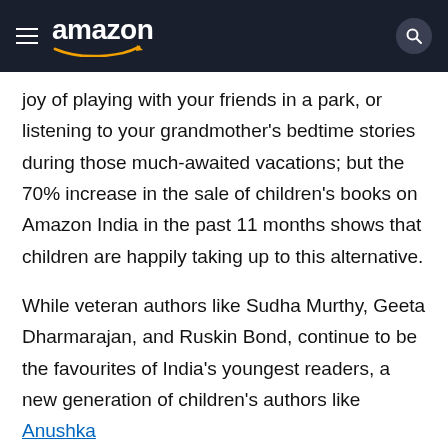amazon
joy of playing with your friends in a park, or listening to your grandmother’s bedtime stories during those much-awaited vacations; but the 70% increase in the sale of children’s books on Amazon India in the past 11 months shows that children are happily taking up to this alternative.
While veteran authors like Sudha Murthy, Geeta Dharmarajan, and Ruskin Bond, continue to be the favourites of India’s youngest readers, a new generation of children’s authors like Anushka